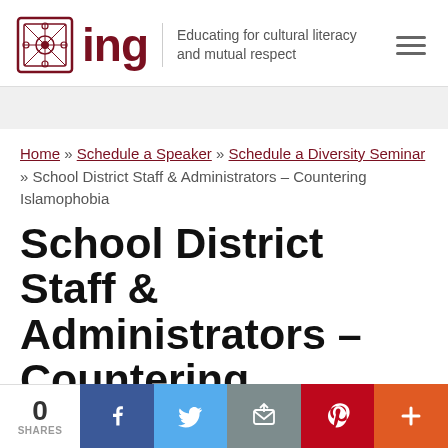ing — Educating for cultural literacy and mutual respect
Home » Schedule a Speaker » Schedule a Diversity Seminar » School District Staff & Administrators – Countering Islamophobia
School District Staff & Administrators – Countering
0 SHARES | Facebook | Twitter | Email | Pinterest | More